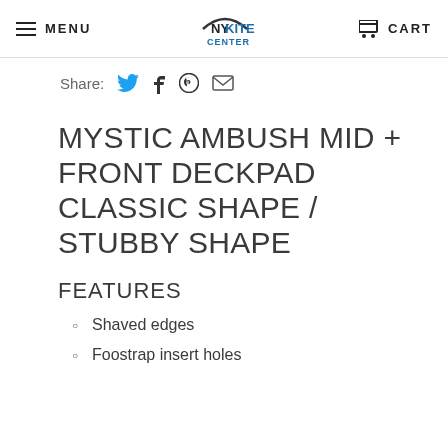MENU | NY KITE CENTER | CART
Share:
MYSTIC AMBUSH MID + FRONT DECKPAD CLASSIC SHAPE / STUBBY SHAPE
FEATURES
Shaved edges
Foostrap insert holes